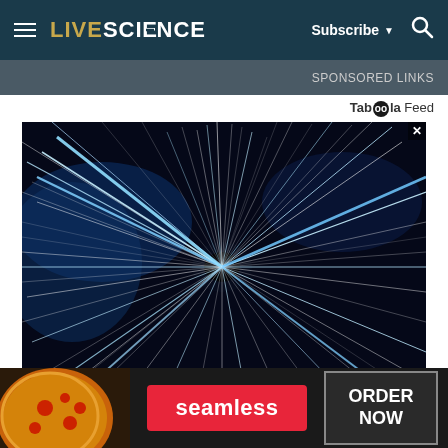LIVESCIENCE — Subscribe ▾ 🔍
Taboola Feed
[Figure (photo): Warp speed / hyperspace travel effect showing streaking white and blue light trails radiating outward from a central dark point, suggesting rapid motion through space]
[Figure (photo): Seamless food delivery advertisement banner with pizza image on left, red Seamless button in center, and ORDER NOW button on right]